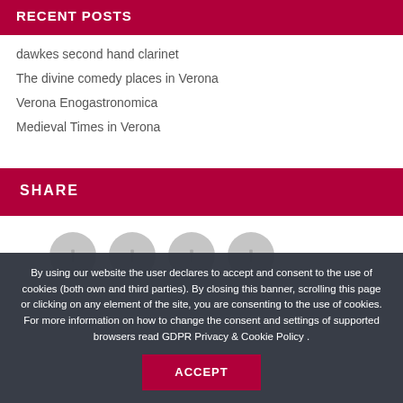RECENT POSTS
dawkes second hand clarinet
The divine comedy places in Verona
Verona Enogastronomica
Medieval Times in Verona
SHARE
[Figure (other): Four social sharing icon circles (grey)]
By using our website the user declares to accept and consent to the use of cookies (both own and third parties). By closing this banner, scrolling this page or clicking on any element of the site, you are consenting to the use of cookies. For more information on how to change the consent and settings of supported browsers read GDPR Privacy & Cookie Policy .
ACCEPT